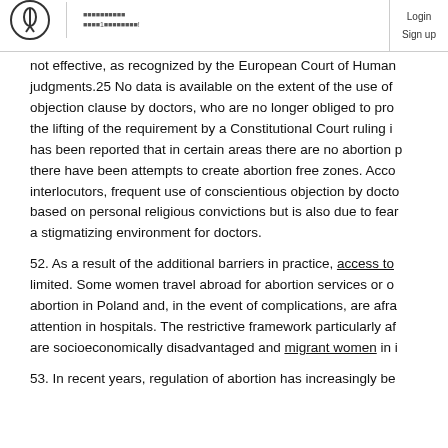Login Sign up
not effective, as recognized by the European Court of Human judgments.25 No data is available on the extent of the use of objection clause by doctors, who are no longer obliged to pro the lifting of the requirement by a Constitutional Court ruling i has been reported that in certain areas there are no abortion p there have been attempts to create abortion free zones. Acco interlocutors, frequent use of conscientious objection by docto based on personal religious convictions but is also due to fear a stigmatizing environment for doctors.
52. As a result of the additional barriers in practice, access to limited. Some women travel abroad for abortion services or o abortion in Poland and, in the event of complications, are afra attention in hospitals. The restrictive framework particularly af are socioeconomically disadvantaged and migrant women in i
53. In recent years, regulation of abortion has increasingly be